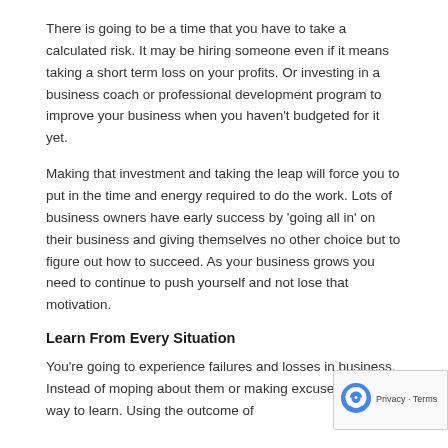There is going to be a time that you have to take a calculated risk. It may be hiring someone even if it means taking a short term loss on your profits. Or investing in a business coach or professional development program to improve your business when you haven't budgeted for it yet.
Making that investment and taking the leap will force you to put in the time and energy required to do the work. Lots of business owners have early success by 'going all in' on their business and giving themselves no other choice but to figure out how to succeed. As your business grows you need to continue to push yourself and not lose that motivation.
Learn From Every Situation
You're going to experience failures and losses in business.  Instead of moping about them or making excuses, find a way to learn. Using the outcome of